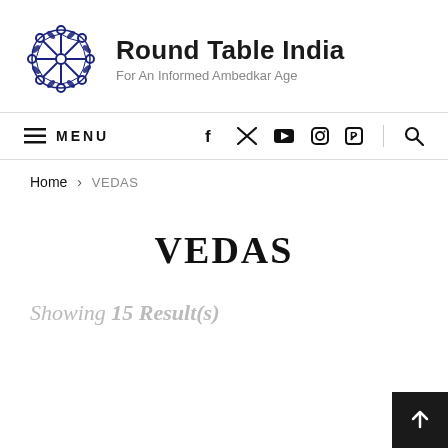Round Table India – For An Informed Ambedkar Age
≡ MENU  [facebook] [twitter] [youtube] [instagram] [pinterest] [search]
Home > VEDAS
VEDAS
Showing 15 Result(s)